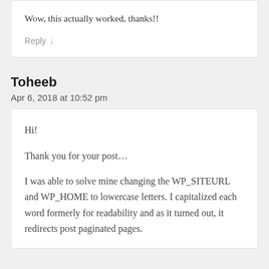Wow, this actually worked, thanks!!
Reply ↓
Toheeb
Apr 6, 2018 at 10:52 pm
Hi!

Thank you for your post…

I was able to solve mine changing the WP_SITEURL and WP_HOME to lowercase letters. I capitalized each word formerly for readability and as it turned out, it redirects post paginated pages.